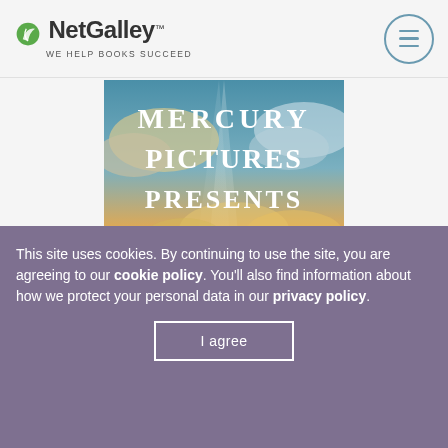NetGalley — WE HELP BOOKS SUCCEED
[Figure (illustration): Book cover for 'Mercury Pictures Presents: A Novel' by Anthony — features dramatic sky with golden clouds and white serif title text on a teal/gold background]
This site uses cookies. By continuing to use the site, you are agreeing to our cookie policy. You'll also find information about how we protect your personal data in our privacy policy.
I agree